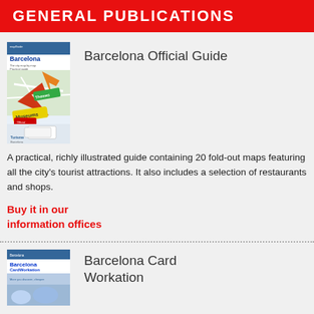GENERAL PUBLICATIONS
[Figure (illustration): Cover of the Barcelona Official Guide book — map-style guide with photos of arrows, museums, and city attractions]
Barcelona Official Guide
A practical, richly illustrated guide containing 20 fold-out maps featuring all the city's tourist attractions. It also includes a selection of restaurants and shops.
Buy it in our information offices
[Figure (illustration): Cover of the Barcelona Card Workation booklet]
Barcelona Card Workation